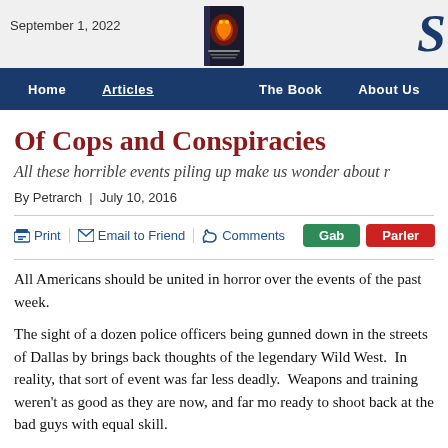September 1, 2022
[Figure (illustration): Book cover image centered in header]
[Figure (logo): Stylized S logo in dark blue serif font]
Home | Articles | The Book | About us
Of Cops and Conspiracies
All these horrible events piling up make us wonder about r
By Petrarch  |  July 10, 2016
Print  Email to Friend  Comments  Gab  Parler
All Americans should be united in horror over the events of the past week.
The sight of a dozen police officers being gunned down in the streets of Dallas by brings back thoughts of the legendary Wild West.  In reality, that sort of event was far less deadly.  Weapons and training weren't as good as they are now, and far mo ready to shoot back at the bad guys with equal skill.
What is more, it is equally appalling to be seeing transparently innocent people gu